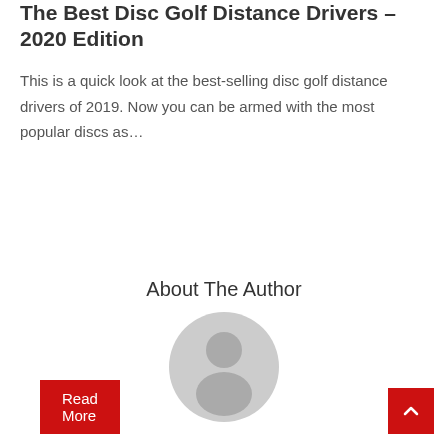The Best Disc Golf Distance Drivers – 2020 Edition
This is a quick look at the best-selling disc golf distance drivers of 2019. Now you can be armed with the most popular discs as…
Read More
About The Author
[Figure (illustration): Generic user avatar icon — a grey circle with a stylized person silhouette]